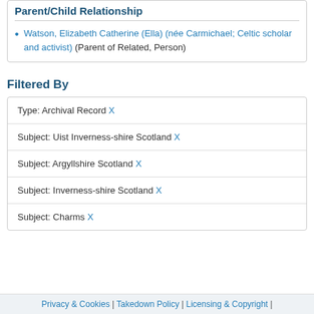Parent/Child Relationship
Watson, Elizabeth Catherine (Ella) (née Carmichael; Celtic scholar and activist) (Parent of Related, Person)
Filtered By
| Type: Archival Record X |
| Subject: Uist Inverness-shire Scotland X |
| Subject: Argyllshire Scotland X |
| Subject: Inverness-shire Scotland X |
| Subject: Charms X |
Privacy & Cookies | Takedown Policy | Licensing & Copyright |